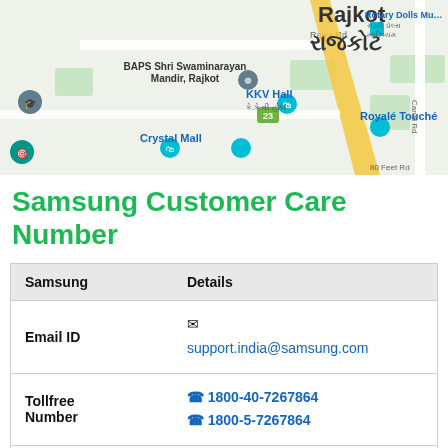[Figure (map): Google Maps view of Rajkot area showing landmarks: BAPS Shri Swaminarayan Mandir, KKV Hall, Crystal Mall, Royale Touche, Rotary Dolls Museum, with roads including Raiya Rd, Canal Rd, 80 Feet Rd, and route 23. Top right shows 'Rajkot / રાજકોટ' text.]
Samsung Customer Care Number
| Samsung | Details |
| --- | --- |
| Email ID | ✉ support.india@samsung.com |
| Tollfree Number | ☎ 1800-40-7267864
☎ 1800-5-7267864 |
| Official Site | 🌐 samsung.com/in/support |